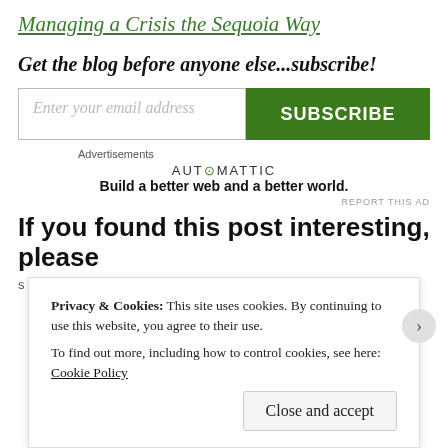Managing a Crisis the Sequoia Way
Get the blog before anyone else...subscribe!
[Figure (other): Email subscription form with input field 'Enter your email address' and green SUBSCRIBE button]
Advertisements
AUTOMATTIC
Build a better web and a better world.
REPORT THIS AD
If you found this post interesting, please
Privacy & Cookies: This site uses cookies. By continuing to use this website, you agree to their use.
To find out more, including how to control cookies, see here: Cookie Policy
Close and accept